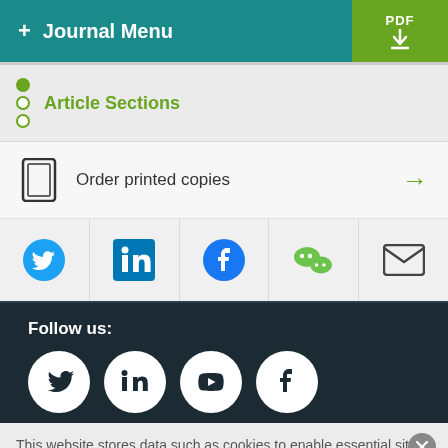+ Journal Menu | PDF
Article Sections
Order printed copies →
[Figure (screenshot): Social sharing icons row: Twitter, LinkedIn, Facebook, WeChat, Email]
Follow us:
[Figure (screenshot): Footer social media icons: Twitter, LinkedIn, YouTube, Facebook (white circles on dark background)]
This website stores data such as cookies to enable essential site functionality, as well as marketing, personalization, and analytics. By remaining on this website you indicate your consent. Cookie Policy